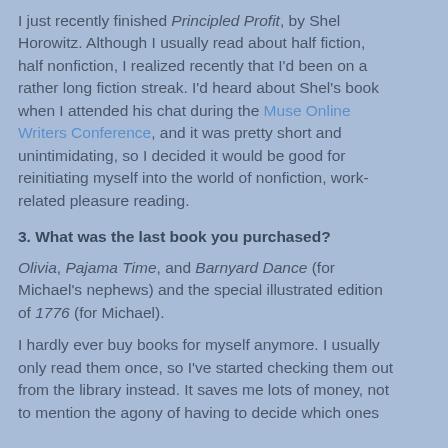I just recently finished Principled Profit, by Shel Horowitz. Although I usually read about half fiction, half nonfiction, I realized recently that I'd been on a rather long fiction streak. I'd heard about Shel's book when I attended his chat during the Muse Online Writers Conference, and it was pretty short and unintimidating, so I decided it would be good for reinitiating myself into the world of nonfiction, work-related pleasure reading.
3. What was the last book you purchased?
Olivia, Pajama Time, and Barnyard Dance (for Michael's nephews) and the special illustrated edition of 1776 (for Michael).
I hardly ever buy books for myself anymore. I usually only read them once, so I've started checking them out from the library instead. It saves me lots of money, not to mention the agony of having to decide which ones to get rid of when I run out of space yet again. Besides, having them for a limited amount of time (usually) forces me to get to them a little sooner.